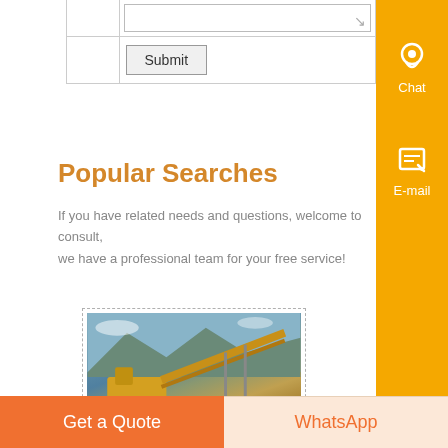|  | (textarea) |
|  | Submit |
Popular Searches
If you have related needs and questions, welcome to consult, we have a professional team for your free service!
[Figure (photo): Photo of a stone crusher plant with yellow heavy machinery and conveyor belts, with ZENIT watermark text]
Stone Crusher Plant - How to Start - Business Project Plan... Know More
Get a Quote
WhatsApp